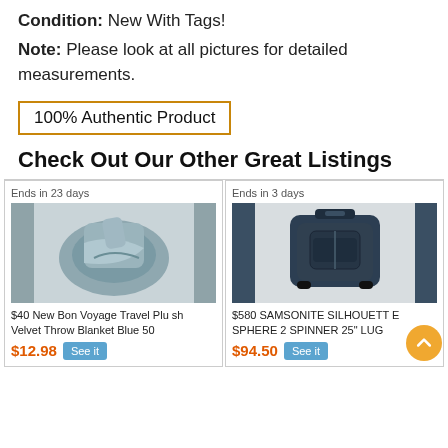Condition: New With Tags!
Note: Please look at all pictures for detailed measurements.
100% Authentic Product
Check Out Our Other Great Listings
[Figure (photo): Product listing card: Ends in 23 days. Blue folded travel blanket on white surface. Title: $40 New Bon Voyage Travel Plush Velvet Throw Blanket Blue 50. Price: $12.98. See it button.]
[Figure (photo): Product listing card: Ends in 3 days. Navy blue Samsonite spinner luggage on white surface. Title: $580 SAMSONITE SILHOUETTE SPHERE 2 SPINNER 25" LUG. Price: $94.50. See it button.]